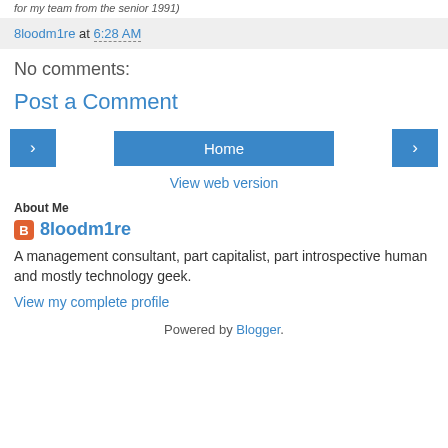for my team from the senior 1991)
8loodm1re at 6:28 AM
No comments:
Post a Comment
[Figure (other): Navigation buttons: left arrow, Home, right arrow]
View web version
About Me
8loodm1re
A management consultant, part capitalist, part introspective human and mostly technology geek.
View my complete profile
Powered by Blogger.